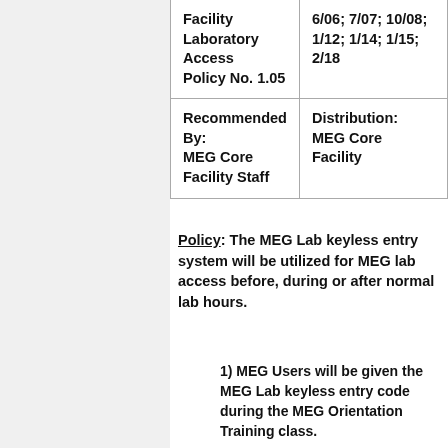| Facility Laboratory Access Policy No. 1.05 | 6/06; 7/07; 10/08; 1/12; 1/14; 1/15; 2/18 |
| Recommended By:
MEG Core Facility Staff | Distribution:
MEG Core Facility |
Policy: The MEG Lab keyless entry system will be utilized for MEG lab access before, during or after normal lab hours.
1) MEG Users will be given the MEG Lab keyless entry code during the MEG Orientation Training class.